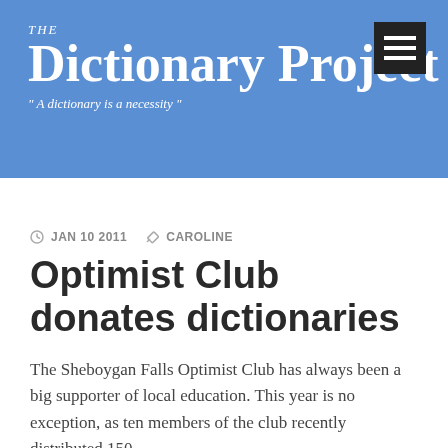THE Dictionary Project — "A dictionary is a necessity"
JAN 10 2011   CAROLINE
Optimist Club donates dictionaries
The Sheboygan Falls Optimist Club has always been a big supporter of local education. This year is no exception, as ten members of the club recently distributed 150